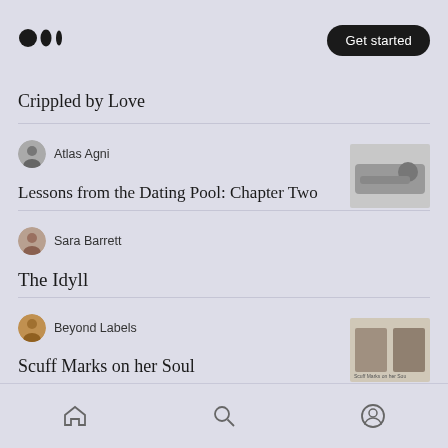Medium logo | Get started
Crippled by Love
Atlas Agni
Lessons from the Dating Pool: Chapter Two
Sara Barrett
The Idyll
Beyond Labels
Scuff Marks on her Soul
Paul D Kennedy
Home | Search | Profile